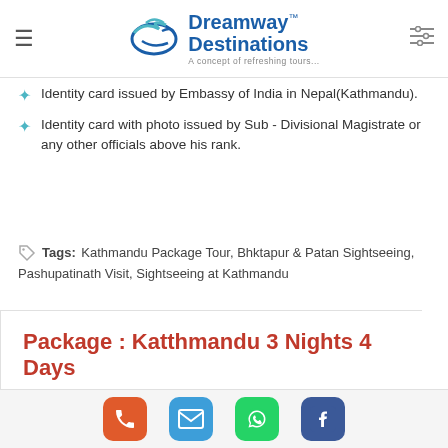Dreamway Destinations — A concept of refreshing tours...
Identity card issued by Embassy of India in Nepal(Kathmandu).
Identity card with photo issued by Sub - Divisional Magistrate or any other officials above his rank.
Tags: Kathmandu Package Tour, Bhktapur & Patan Sightseeing, Pashupatinath Visit, Sightseeing at Kathmandu
Package : Katthmandu 3 Nights 4 Days